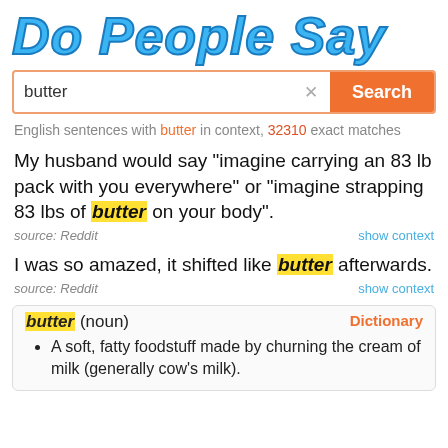Do People Say
[Figure (screenshot): Search bar with text 'butter', an X clear button, and an orange Search button]
English sentences with butter in context, 32310 exact matches
My husband would say "imagine carrying an 83 lb pack with you everywhere" or "imagine strapping 83 lbs of butter on your body".
source: Reddit
show context
I was so amazed, it shifted like butter afterwards.
source: Reddit
show context
Dictionary
butter (noun)
• A soft, fatty foodstuff made by churning the cream of milk (generally cow's milk).